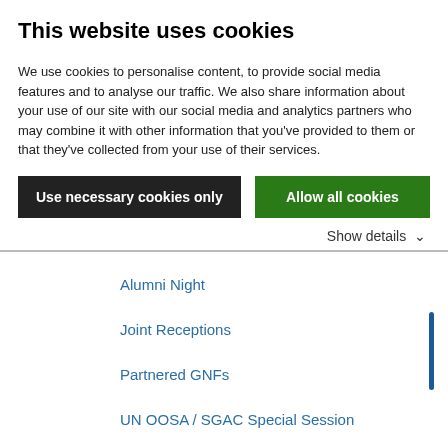This website uses cookies
We use cookies to personalise content, to provide social media features and to analyse our traffic. We also share information about your use of our site with our social media and analytics partners who may combine it with other information that you've provided to them or that they've collected from your use of their services.
Use necessary cookies only | Allow all cookies
Show details
Alumni Night
Joint Receptions
Partnered GNFs
UN OOSA / SGAC Special Session
SGC2019 FAQ
Apply!